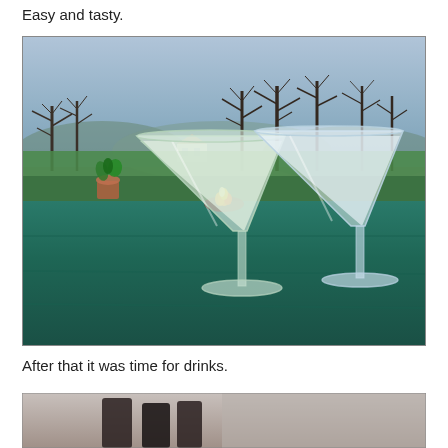Easy and tasty.
[Figure (photo): Two martini glasses filled with a pale greenish-white cocktail on a teal/green table surface outdoors. In the background there is a fire pit with flames, bare trees, green grass fields, and a house, under a dusky sky.]
After that it was time for drinks.
[Figure (photo): Partial view of a photo at the bottom of the page, showing what appears to be people or figures, cropped.]